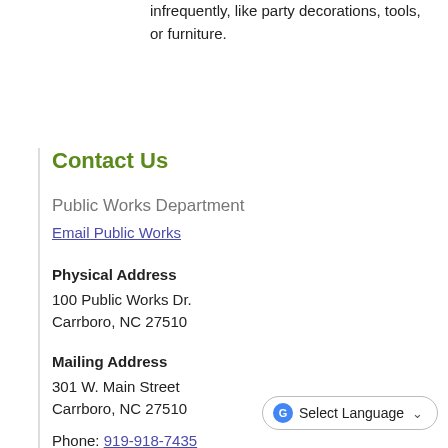infrequently, like party decorations, tools, or furniture.
Contact Us
Public Works Department
Email Public Works
Physical Address
100 Public Works Dr.
Carrboro, NC 27510
Mailing Address
301 W. Main Street
Carrboro, NC 27510
Phone: 919-918-7425